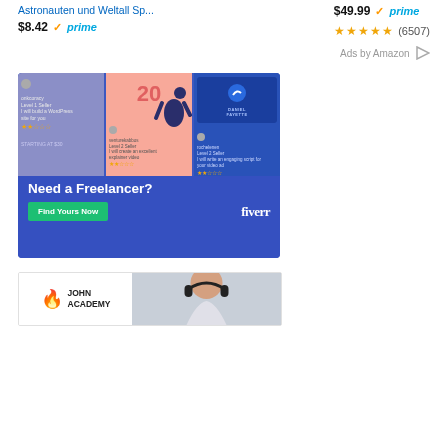Astronauten und Weltall Sp...
$8.42 prime
$49.99 prime
★★★★★ (6507)
Ads by Amazon
[Figure (illustration): Fiverr advertisement banner showing a collage of freelancer cards with the text 'Need a Freelancer?', a green 'Find Yours Now' button, and the Fiverr logo]
[Figure (illustration): John Academy advertisement banner showing a logo with flame icon and 'JOHN ACADEMY' text alongside a photo of a woman wearing headphones]